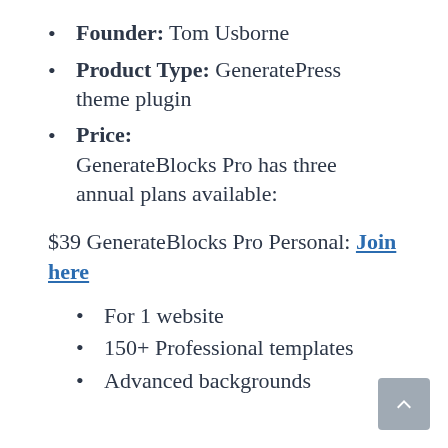Founder: Tom Usborne
Product Type: GeneratePress theme plugin
Price: GenerateBlocks Pro has three annual plans available:
$39 GenerateBlocks Pro Personal: Join here
For 1 website
150+ Professional templates
Advanced backgrounds